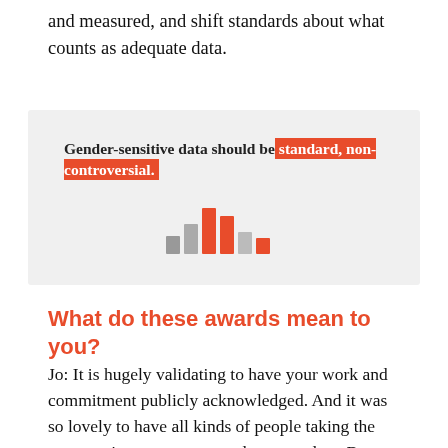and measured, and shift standards about what counts as adequate data.
[Figure (infographic): Light grey box containing the bold text 'Gender-sensitive data should be standard, non-controversial.' with the phrase 'standard, non-controversial.' highlighted in orange/red background with white text. Below is a decorative bar chart icon with grey and orange/red bars of varying heights.]
What do these awards mean to you?
Jo: It is hugely validating to have your work and commitment publicly acknowledged. And it was so lovely to have all kinds of people taking the opportunity to comment and congratulate. But perhaps what feels most meaningful is the recognition of the kind of work I have been involved in over the last 30+ years. Gender inequality is rooted deep in systems, structures,